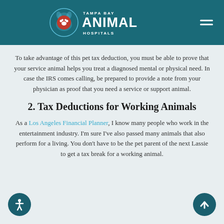Tampa Bay Animal Hospitals
To take advantage of this pet tax deduction, you must be able to prove that your service animal helps you treat a diagnosed mental or physical need. In case the IRS comes calling, be prepared to provide a note from your physician as proof that you need a service or support animal.
2. Tax Deductions for Working Animals
As a Los Angeles Financial Planner, I know many people who work in the entertainment industry. I'm sure I've also passed many animals that also perform for a living. You don't have to be the pet parent of the next Lassie to get a tax break for a working animal.